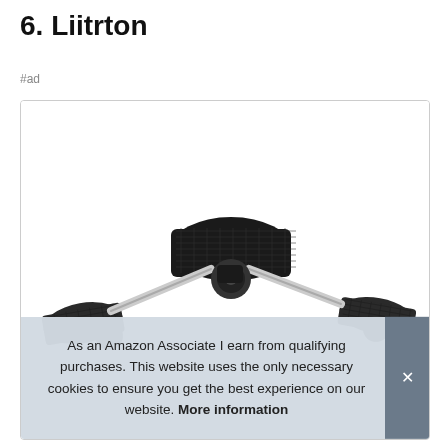6. Liitrton
#ad
[Figure (photo): Product photo of a stroller board/buggy board accessory with black platform pads, silver metal arms, and black wheels, shown from above on a white background. A cookie consent overlay partially covers the bottom of the image.]
As an Amazon Associate I earn from qualifying purchases. This website uses the only necessary cookies to ensure you get the best experience on our website. More information